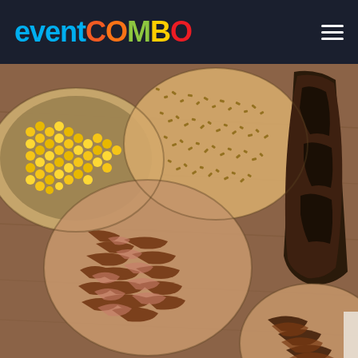eventcombo
[Figure (photo): Overhead view of various BBQ/grilled meats and dishes served on round wooden boards and plates on a brown wooden table. Items include corn/yellow grain dish, a grain/nut mixture, pulled/shredded dark meat, sliced brisket, and additional meat dishes.]